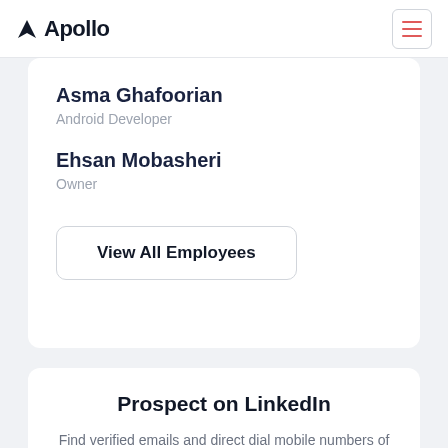Apollo
Asma Ghafoorian
Android Developer
Ehsan Mobasheri
Owner
View All Employees
Prospect on LinkedIn
Find verified emails and direct dial mobile numbers of contacts on LinkedIn, and sync them with your CRM instantly